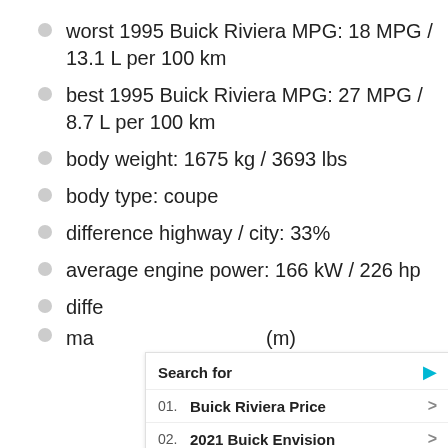worst 1995 Buick Riviera MPG: 18 MPG / 13.1 L per 100 km
best 1995 Buick Riviera MPG: 27 MPG / 8.7 L per 100 km
body weight: 1675 kg / 3693 lbs
body type: coupe
difference highway / city: 33%
average engine power: 166 kW / 226 hp
diffe[partially obscured]
ma[partially obscured](m)